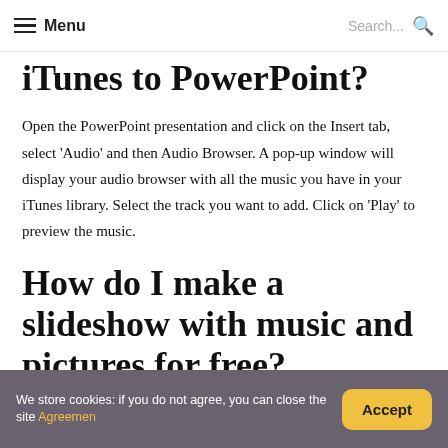Menu  Search...
iTunes to PowerPoint?
Open the PowerPoint presentation and click on the Insert tab, select 'Audio' and then Audio Browser. A pop-up window will display your audio browser with all the music you have in your iTunes library. Select the track you want to add. Click on 'Play' to preview the music.
How do I make a slideshow with music and pictures for free?
We store cookies: if you do not agree, you can close the site Agreemen